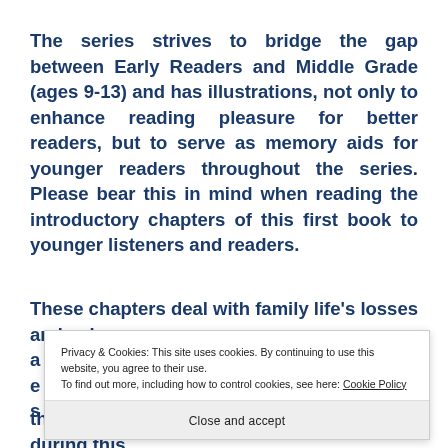The series strives to bridge the gap between Early Readers and Middle Grade (ages 9-13) and has illustrations, not only to enhance reading pleasure for better readers, but to serve as memory aids for younger readers throughout the series. Please bear this in mind when reading the introductory chapters of this first book to younger listeners and readers.
These chapters deal with family life's losses and gains, a
Privacy & Cookies: This site uses cookies. By continuing to use this website, you agree to their use.
To find out more, including how to control cookies, see here: Cookie Policy
Close and accept
the Kalughari by the bush creatures. Events during this